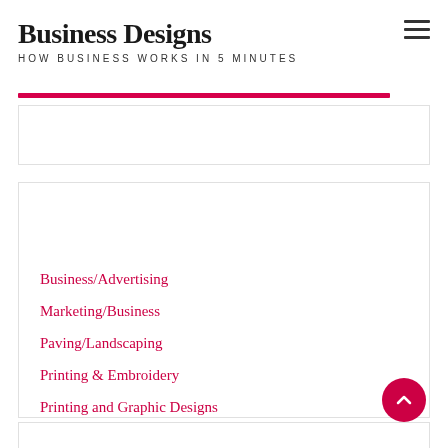Business Designs
HOW BUSINESS WORKS IN 5 MINUTES
Categories
Business/Advertising
Marketing/Business
Paving/Landscaping
Printing & Embroidery
Printing and Graphic Designs